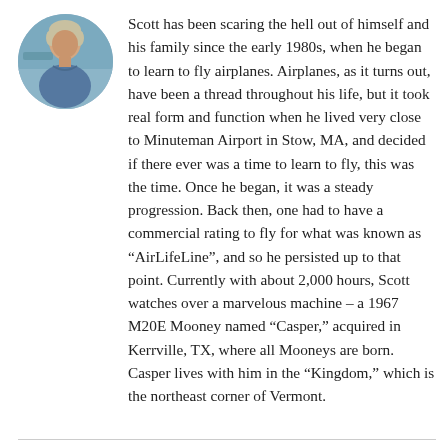[Figure (photo): Circular portrait photo of a middle-aged man with gray-blond hair, wearing a blue hoodie, outdoors near water.]
Scott has been scaring the hell out of himself and his family since the early 1980s, when he began to learn to fly airplanes. Airplanes, as it turns out, have been a thread throughout his life, but it took real form and function when he lived very close to Minuteman Airport in Stow, MA, and decided if there ever was a time to learn to fly, this was the time. Once he began, it was a steady progression. Back then, one had to have a commercial rating to fly for what was known as “AirLifeLine”, and so he persisted up to that point. Currently with about 2,000 hours, Scott watches over a marvelous machine – a 1967 M20E Mooney named “Casper,” acquired in Kerrville, TX, where all Mooneys are born. Casper lives with him in the “Kingdom,” which is the northeast corner of Vermont.